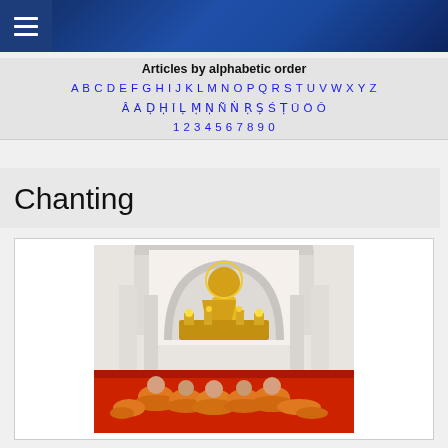Navigation menu header bar
Articles by alphabetic order
A B C D E F G H I J K L M N O P Q R S T U V W X Y Z
Â Ā Ḍ Ḥ Ī Ḷ Ṃ Ṇ Ñ Ṅ Ṛ Ṣ Ś Ṭ Ū Ö Ō
1 2 3 4 5 6 7 8 9 0
Chanting
[Figure (photo): Buddhist monks in orange robes sitting on a red carpet, bowing in worship before a large golden Buddha statue inside a white temple with ornate golden altar decorations]